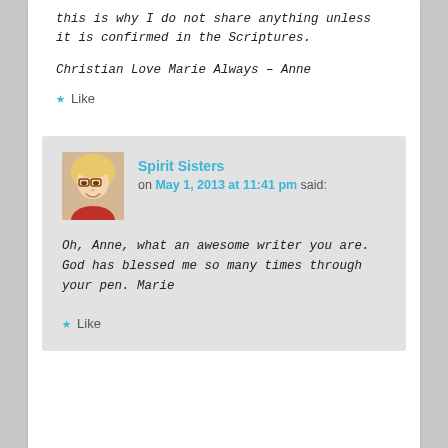this is why I do not share anything unless it is confirmed in the Scriptures.
Christian Love Marie Always – Anne
Like
Spirit Sisters on May 1, 2013 at 11:41 pm said:
Oh, Anne, what an awesome writer you are. God has blessed me so many times through your pen. Marie
Like